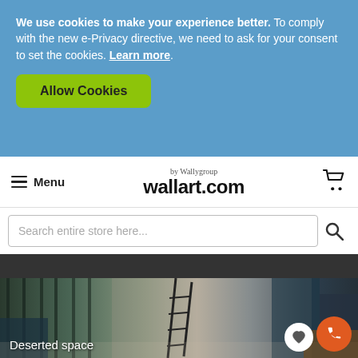We use cookies to make your experience better. To comply with the new e-Privacy directive, we need to ask for your consent to set the cookies. Learn more.
Allow Cookies
Menu | wallart.com by Wallygroup
Search entire store here...
[Figure (photo): Deserted space - an abandoned interior room with tall windows, peeling walls in blue and grey tones, a ladder, and a wooden counter]
Deserted space